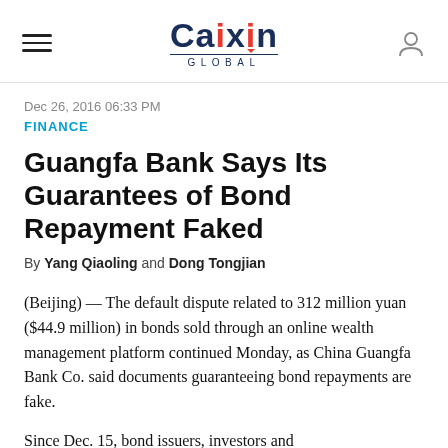Caixin GLOBAL
Dec 26, 2016 06:33 PM
FINANCE
Guangfa Bank Says Its Guarantees of Bond Repayment Faked
By Yang Qiaoling and Dong Tongjian
(Beijing) — The default dispute related to 312 million yuan ($44.9 million) in bonds sold through an online wealth management platform continued Monday, as China Guangfa Bank Co. said documents guaranteeing bond repayments are fake.
Since Dec. 15, bond issuers, investors and